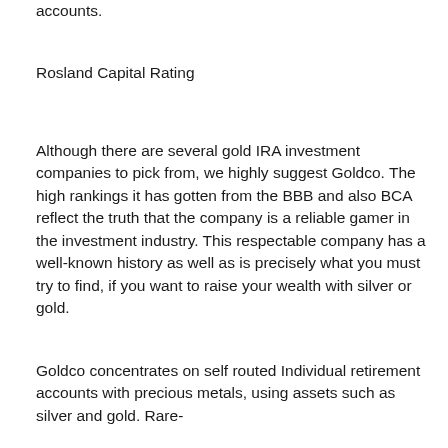accounts.
Rosland Capital Rating
Although there are several gold IRA investment companies to pick from, we highly suggest Goldco. The high rankings it has gotten from the BBB and also BCA reflect the truth that the company is a reliable gamer in the investment industry. This respectable company has a well-known history as well as is precisely what you must try to find, if you want to raise your wealth with silver or gold.
Goldco concentrates on self routed Individual retirement accounts with precious metals, using assets such as silver and gold. Rare-